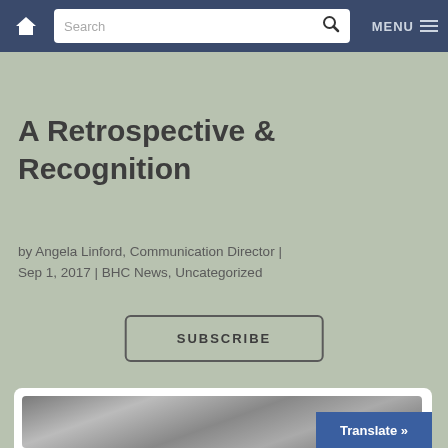Navigation bar with home icon, search box, and MENU
A Retrospective & Recognition
by Angela Linford, Communication Director | Sep 1, 2017 | BHC News, Uncategorized
SUBSCRIBE
[Figure (photo): Photo of hands joined together, partially visible at bottom of page with white card frame. Translate button overlay in bottom right.]